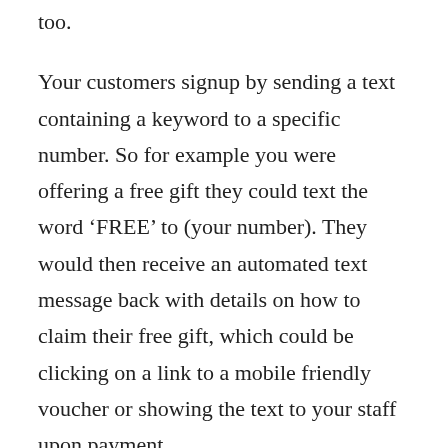too.
Your customers signup by sending a text containing a keyword to a specific number. So for example you were offering a free gift they could text the word ‘FREE’ to (your number). They would then receive an automated text message back with details on how to claim their free gift, which could be clicking on a link to a mobile friendly voucher or showing the text to your staff upon payment.
The signup process can be simplified by providing QR (quick response) codes on promotional materials. These look similar to barcodes and can be scanned by your customer’s smart mobile phone and they are